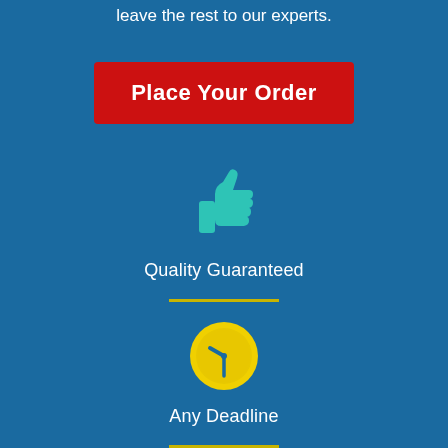leave the rest to our experts.
Place Your Order
[Figure (illustration): Teal thumbs-up icon]
Quality Guaranteed
[Figure (illustration): Yellow clock icon]
Any Deadline